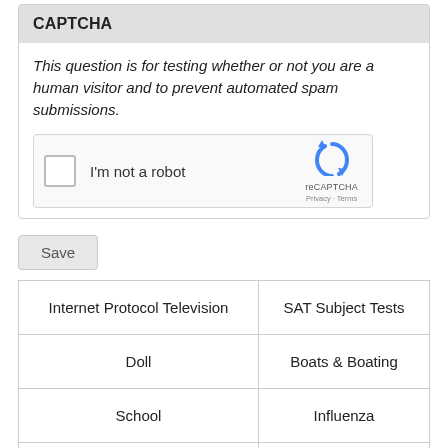CAPTCHA
This question is for testing whether or not you are a human visitor and to prevent automated spam submissions.
[Figure (other): reCAPTCHA widget with checkbox labeled 'I'm not a robot' and reCAPTCHA logo with Privacy and Terms links]
Save
| Internet Protocol Television | SAT Subject Tests |
| Doll | Boats & Boating |
| School | Influenza |
| Buddhism | Popular |